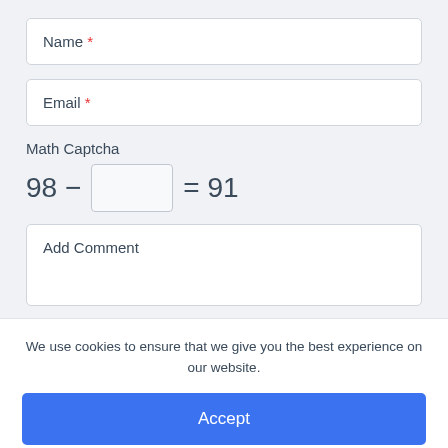Name *
Email *
Math Captcha
Add Comment
We use cookies to ensure that we give you the best experience on our website.
Accept